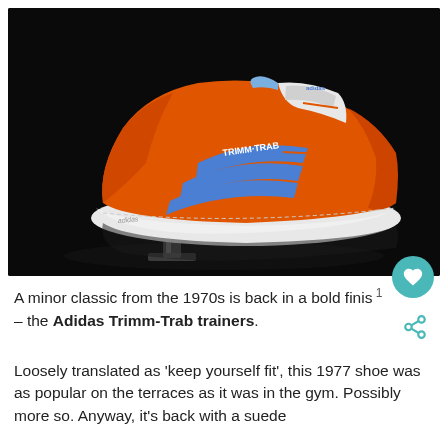[Figure (photo): An orange and blue Adidas Trimm-Trab sneaker photographed on a black background, displayed on a clear acrylic stand. The shoe features orange suede upper with three blue stripes, white sole, and orange laces.]
A minor classic from the 1970s is back in a bold finish – the Adidas Trimm-Trab trainers.
Loosely translated as 'keep yourself fit', this 1977 shoe was as popular on the terraces as it was in the gym. Possibly more so. Anyway, it's back with a suede